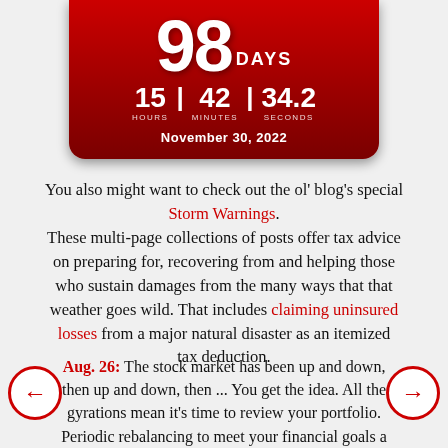[Figure (other): Countdown timer widget showing 98 DAYS, 15 hours, 42 minutes, 34.2 seconds, targeting November 30, 2022]
You also might want to check out the ol' blog's special Storm Warnings. These multi-page collections of posts offer tax advice on preparing for, recovering from and helping those who sustain damages from the many ways that that weather goes wild. That includes claiming uninsured losses from a major natural disaster as an itemized tax deduction.
Aug. 26: The stock market has been up and down, then up and down, then ... You get the idea. All the gyrations mean it's time to review your portfolio. Periodic rebalancing to meet your financial goals a could provide a tax break. If some of your taxable holdings have dropped in value, you can sell them and